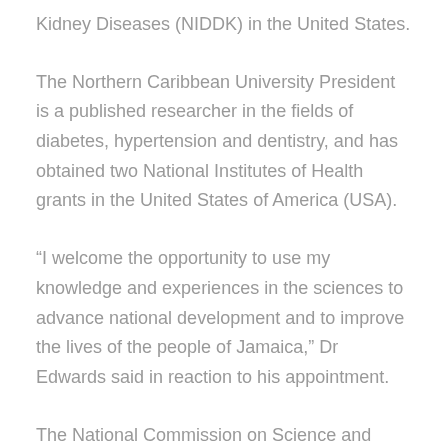Kidney Diseases (NIDDK) in the United States.
The Northern Caribbean University President is a published researcher in the fields of diabetes, hypertension and dentistry, and has obtained two National Institutes of Health grants in the United States of America (USA).
“I welcome the opportunity to use my knowledge and experiences in the sciences to advance national development and to improve the lives of the people of Jamaica,” Dr Edwards said in reaction to his appointment.
The National Commission on Science and